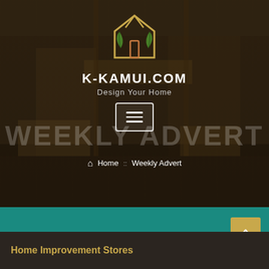[Figure (logo): K-Kamui.com logo: house outline with gold/orange roof and green leaves, above the site name]
K-KAMUI.COM
Design Your Home
[Figure (other): Hamburger menu button (three horizontal lines in a white-bordered rectangle)]
WEEKLY ADVERT
Home :: Weekly Advert
Home Improvement Stores